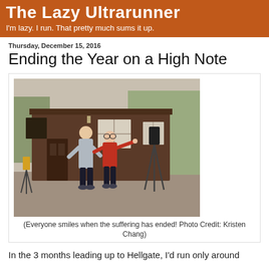The Lazy Ultrarunner
I'm lazy. I run. That pretty much sums it up.
Thursday, December 15, 2016
Ending the Year on a High Note
[Figure (photo): Two people smiling outside a brown wooden building with trees in background. One wearing a gray hoodie, one wearing a red jacket with arm outstretched. Camera equipment visible on a tripod to the right.]
(Everyone smiles when the suffering has ended! Photo Credit: Kristen Chang)
In the 3 months leading up to Hellgate, I'd run only around